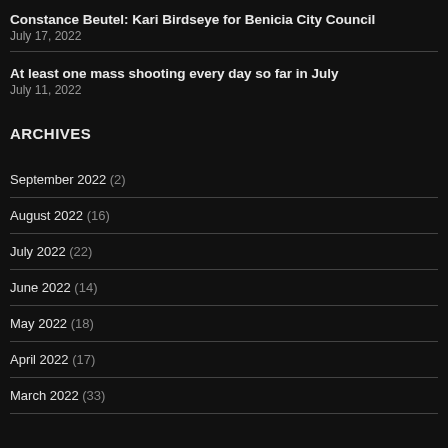Constance Beutel: Kari Birdseye for Benicia City Council
July 17, 2022
At least one mass shooting every day so far in July
July 11, 2022
ARCHIVES
September 2022 (2)
August 2022 (16)
July 2022 (22)
June 2022 (14)
May 2022 (18)
April 2022 (17)
March 2022 (33)